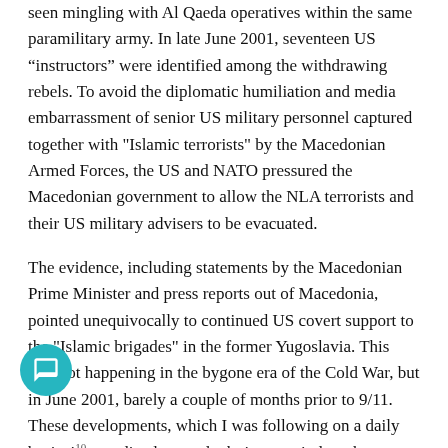seen mingling with Al Qaeda operatives within the same paramilitary army. In late June 2001, seventeen US “instructors” were identified among the withdrawing rebels. To avoid the diplomatic humiliation and media embarrassment of senior US military personnel captured together with "Islamic terrorists" by the Macedonian Armed Forces, the US and NATO pressured the Macedonian government to allow the NLA terrorists and their US military advisers to be evacuated.
The evidence, including statements by the Macedonian Prime Minister and press reports out of Macedonia, pointed unequivocally to continued US covert support to the "Islamic brigades" in the former Yugoslavia. This was not happening in the bygone era of the Cold War, but in June 2001, barely a couple of months prior to 9/11. These developments, which I was following on a daily basis, immediately cast doubt in my mind on the official 9/11 narrative presented Al Qaeda as the mastermind behind the attacks on the World Trade Center and the Pentagon. (Chapter IV.)